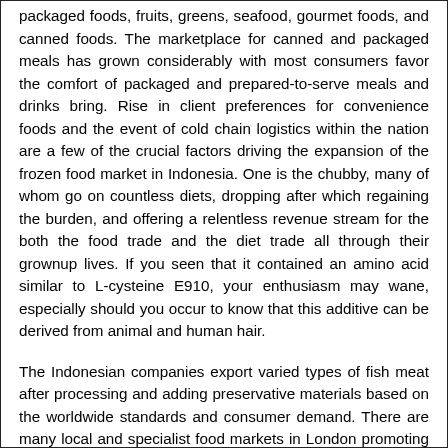packaged foods, fruits, greens, seafood, gourmet foods, and canned foods. The marketplace for canned and packaged meals has grown considerably with most consumers favor the comfort of packaged and prepared-to-serve meals and drinks bring. Rise in client preferences for convenience foods and the event of cold chain logistics within the nation are a few of the crucial factors driving the expansion of the frozen food market in Indonesia. One is the chubby, many of whom go on countless diets, dropping after which regaining the burden, and offering a relentless revenue stream for the both the food trade and the diet trade all through their grownup lives. If you seen that it contained an amino acid similar to L-cysteine E910, your enthusiasm may wane, especially should you occur to know that this additive can be derived from animal and human hair.
The Indonesian companies export varied types of fish meat after processing and adding preservative materials based on the worldwide standards and consumer demand. There are many local and specialist food markets in London promoting every thing from organic produce, meat and cheese, to do-it-yourself jams and chutneys. You can